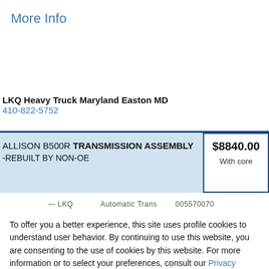More Info
LKQ Heavy Truck Maryland Easton MD
410-822-5752
ALLISON B500R TRANSMISSION ASSEMBLY -REBUILT BY NON-OE  $8840.00 With core
To offer you a better experience, this site uses profile cookies to understand user behavior. By continuing to use this website, you are consenting to the use of cookies by this website. For more information or to select your preferences, consult our Privacy Policy.
Cookie settings  ACCEPT  REJECT